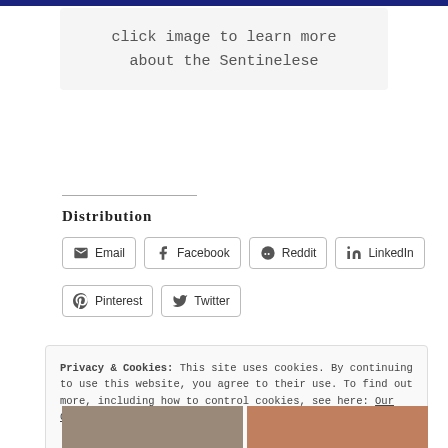[Figure (screenshot): Blue banner at top of page]
click image to learn more about the Sentinelese
Distribution
[Figure (screenshot): Social share buttons: Email, Facebook, Reddit, LinkedIn, Pinterest, Twitter]
Privacy & Cookies: This site uses cookies. By continuing to use this website, you agree to their use. To find out more, including how to control cookies, see here: Our Cookie Policy
[Figure (photo): Two thumbnail photos at the bottom of the page]